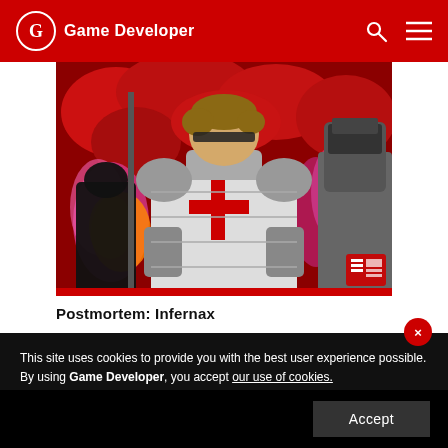Game Developer
[Figure (illustration): Pixel art / comic-style illustration of a knight in grey armor with a red cross on his chest, facing forward with a serious expression. Background shows red foliage and pink/magenta fire effects. Other armored figures visible behind him.]
Postmortem: Infernax
This site uses cookies to provide you with the best user experience possible. By using Game Developer, you accept our use of cookies.
Accept